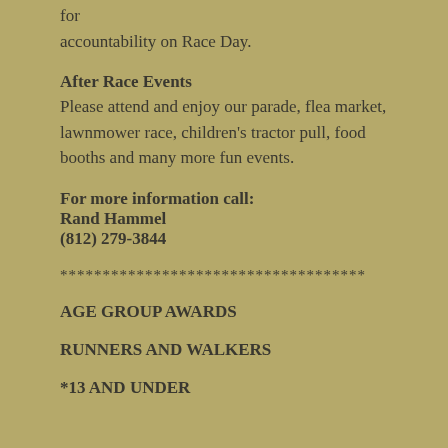for accountability on Race Day.
After Race Events
Please attend and enjoy our parade, flea market, lawnmower race, children's tractor pull, food booths and many more fun events.
For more information call:
Rand Hammel
(812) 279-3844
************************************
AGE GROUP AWARDS
RUNNERS AND WALKERS
*13 AND UNDER